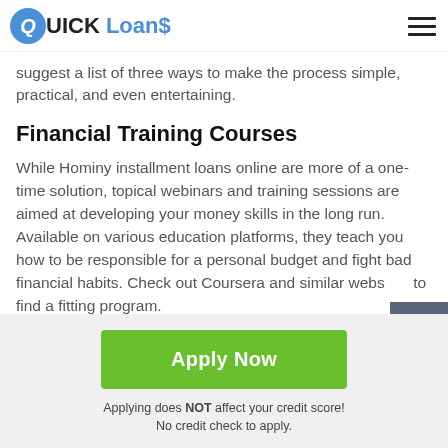QUICK Loans
suggest a list of three ways to make the process simple, practical, and even entertaining.
Financial Training Courses
While Hominy installment loans online are more of a one-time solution, topical webinars and training sessions are aimed at developing your money skills in the long run. Available on various education platforms, they teach you how to be responsible for a personal budget and fight bad financial habits. Check out Coursera and similar websites to find a fitting program.
Apply Now
Applying does NOT affect your credit score!
No credit check to apply.